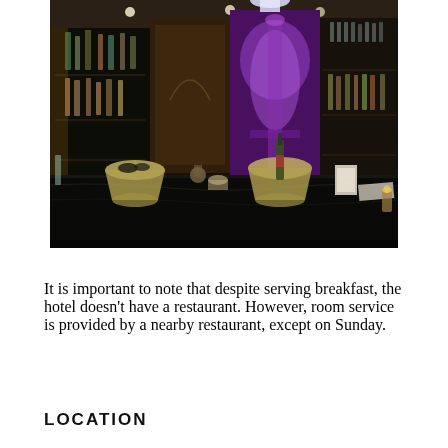[Figure (photo): Interior photo of a hotel bar with dark shelving, bottles of alcohol, decorative murals with purple and classical architectural imagery, and a dark marble counter with silver ice buckets and bowls.]
It is important to note that despite serving breakfast, the hotel doesn't have a restaurant. However, room service is provided by a nearby restaurant, except on Sunday.
LOCATION